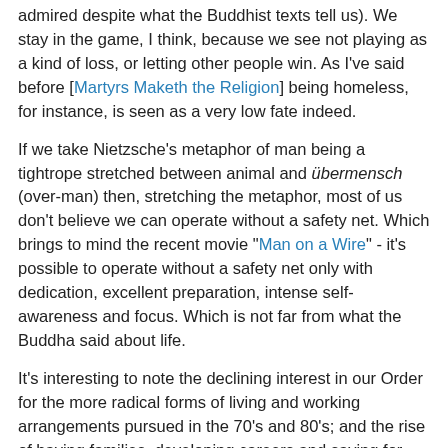admired despite what the Buddhist texts tell us). We stay in the game, I think, because we see not playing as a kind of loss, or letting other people win. As I've said before [Martyrs Maketh the Religion] being homeless, for instance, is seen as a very low fate indeed.
If we take Nietzsche's metaphor of man being a tightrope stretched between animal and übermensch (over-man) then, stretching the metaphor, most of us don't believe we can operate without a safety net. Which brings to mind the recent movie "Man on a Wire" - it's possible to operate without a safety net only with dedication, excellent preparation, intense self-awareness and focus. Which is not far from what the Buddha said about life.
It's interesting to note the declining interest in our Order for the more radical forms of living and working arrangements pursued in the 70's and 80's; and the rise of having families, developing careers and saving for pensions. I suspect that playing the win-lose game is a bit like casino gambling. The house always wins. By playing the game at all, one tends to lose to the establishment.